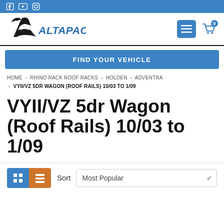Social media icons: Facebook, YouTube, Instagram
[Figure (logo): Altapac logo with stylized 'A' icon and italic blue text 'ALTAPAC']
[Figure (infographic): Blue menu hamburger button and shopping cart icon with badge showing 0]
FIND YOUR VEHICLE
HOME › RHINO RACK ROOF RACKS › HOLDEN › ADVENTRA › VYII/VZ 5DR WAGON (ROOF RAILS) 10/03 TO 1/09
VYII/VZ 5dr Wagon (Roof Rails) 10/03 to 1/09
Sort  Most Popular